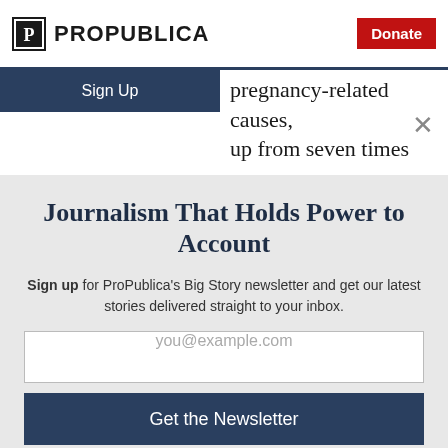[Figure (logo): ProPublica logo with shield icon and text]
Donate
Sign Up
pregnancy-related causes, up from seven times more
Journalism That Holds Power to Account
Sign up for ProPublica's Big Story newsletter and get our latest stories delivered straight to your inbox.
you@example.com
Get the Newsletter
No thanks, I'm all set
This site is protected by reCAPTCHA and the Google Privacy Policy and Terms of Service apply.